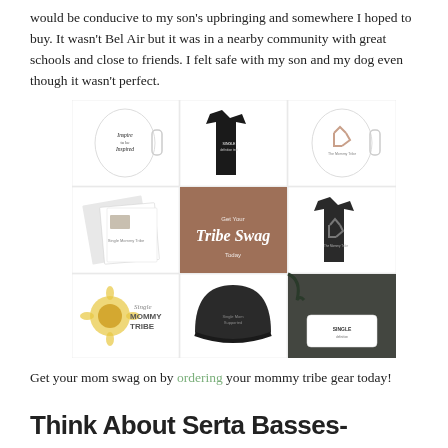would be conducive to my son's upbringing and somewhere I hoped to buy. It wasn't Bel Air but it was in a nearby community with great schools and close to friends. I felt safe with my son and my dog even though it wasn't perfect.
[Figure (infographic): 3x3 grid of Single Mommy Tribe merchandise products: coffee mug, black t-shirt, white mug with logo, magazine/booklet, brown 'Get Your Tribe Swag Today' promo tile, dark t-shirt with recycle logo, Single Mommy Tribe sunflower logo, dark snapback hat, and a white pillow with SINGLE branding.]
Get your mom swag on by ordering your mommy tribe gear today!
Think About Serta Basses-